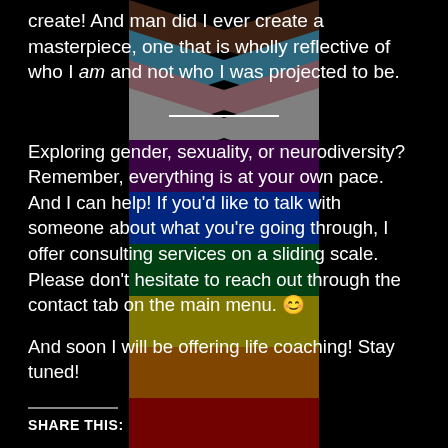[Figure (illustration): Progress Pride flag vertical stripes as background image — includes black, brown, blue, pink, white chevron/arrow stripes on left side and red, orange, yellow, green, blue, purple vertical stripes]
create! And man did I ever create a masterpiece, one that is wholly reflective of who I am and not who I was projected to be.
Exploring gender, sexuality, or neurodiversity? Remember, everything is at your own pace. And I can help! If you'd like to talk with someone about what you're going through, I offer consulting services on a sliding scale. Please don't hesitate to reach out through the contact tab on the main menu. 😊
And soon I will be offering life coaching! Stay tuned!
SHARE THIS: